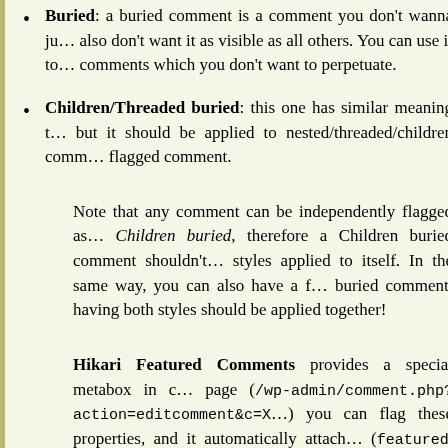Buried: a buried comment is a comment you don't wanna just delete, but also don't want it as visible as all others. You can use it to downvote comments which you don't want to perpetuate.
Children/Threaded buried: this one has similar meaning to the above, but it should be applied to nested/threaded/children comments of the flagged comment.
Note that any comment can be independently flagged as Children buried, therefore a Children buried comment shouldn't have styles applied to itself. In the same way, you can also have a flagged buried comment, having both styles should be applied together!
Hikari Featured Comments provides a special metabox in comment edit page (/wp-admin/comment.php?action=editcomment&c=X) where you can flag these properties, and it automatically attaches (featured, buried, children_buried) to comments in front